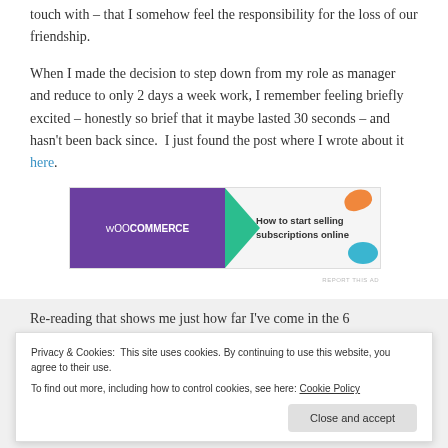touch with – that I somehow feel the responsibility for the loss of our friendship.
When I made the decision to step down from my role as manager and reduce to only 2 days a week work, I remember feeling briefly excited – honestly so brief that it maybe lasted 30 seconds – and hasn't been back since.  I just found the post where I wrote about it here.
[Figure (other): WooCommerce banner advertisement: purple left panel with WooCommerce logo and green arrow, white right panel reading 'How to start selling subscriptions online' with orange and blue decorative shapes]
Re-reading that shows me just how far I've come in the 6
Privacy & Cookies: This site uses cookies. By continuing to use this website, you agree to their use.
To find out more, including how to control cookies, see here: Cookie Policy
Close and accept